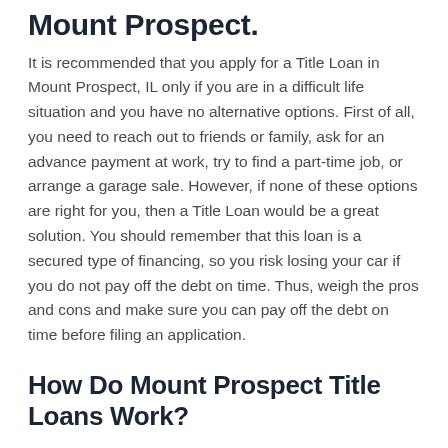Mount Prospect.
It is recommended that you apply for a Title Loan in Mount Prospect, IL only if you are in a difficult life situation and you have no alternative options. First of all, you need to reach out to friends or family, ask for an advance payment at work, try to find a part-time job, or arrange a garage sale. However, if none of these options are right for you, then a Title Loan would be a great solution. You should remember that this loan is a secured type of financing, so you risk losing your car if you do not pay off the debt on time. Thus, weigh the pros and cons and make sure you can pay off the debt on time before filing an application.
How Do Mount Prospect Title Loans Work?
Obtaining a Title Loan in Mount Prospect, IL is easy enough as you can apply for a loan both at the lender's